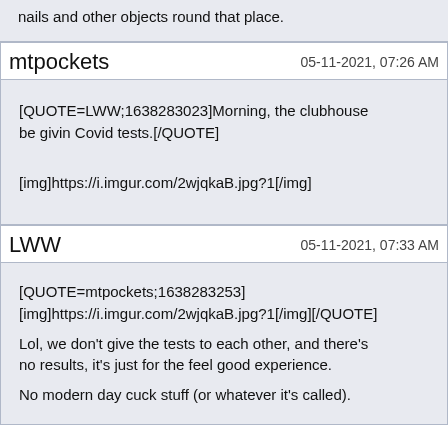nails and other objects round that place.
mtpockets
05-11-2021, 07:26 AM
[QUOTE=LWW;1638283023]Morning, the clubhouse be givin Covid tests.[/QUOTE]
[img]https://i.imgur.com/2wjqkaB.jpg?1[/img]
LWW
05-11-2021, 07:33 AM
[QUOTE=mtpockets;1638283253][img]https://i.imgur.com/2wjqkaB.jpg?1[/img][/QUOTE]
Lol, we don't give the tests to each other, and there's no results, it's just for the feel good experience.
No modern day cuck stuff (or whatever it's called).